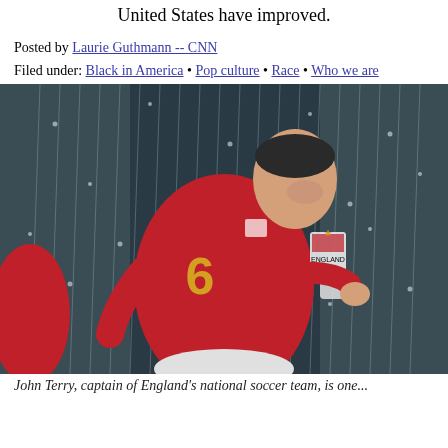United States have improved.
Posted by Laurie Guthmann -- CNN
Filed under: Black in America • Pop culture • Race • Who we are
[Figure (photo): A soccer player wearing a red England jersey with number 6, running in the rain. The player is smiling and the England badge is visible on the chest.]
John Terry, captain of England's national soccer team, is one...